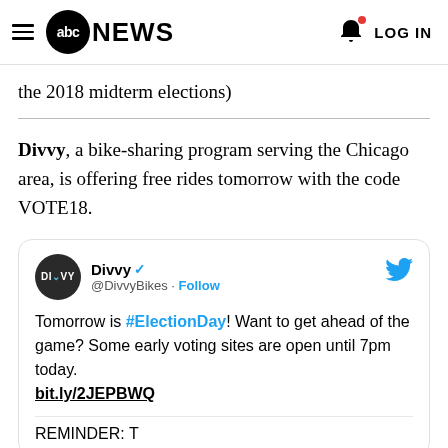abc NEWS  LOG IN
the 2018 midterm elections)
Divvy, a bike-sharing program serving the Chicago area, is offering free rides tomorrow with the code VOTE18.
[Figure (screenshot): Embedded tweet from @DivvyBikes: Tomorrow is #ElectionDay! Want to get ahead of the game? Some early voting sites are open until 7pm today. bit.ly/2JEPBWQ  REMINDER: T...]
REMINDER: T...